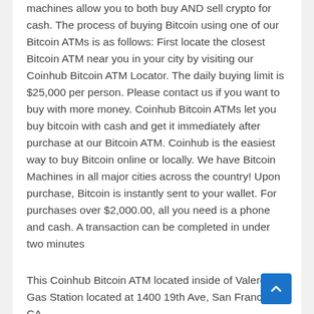machines allow you to both buy AND sell crypto for cash. The process of buying Bitcoin using one of our Bitcoin ATMs is as follows: First locate the closest Bitcoin ATM near you in your city by visiting our Coinhub Bitcoin ATM Locator. The daily buying limit is $25,000 per person. Please contact us if you want to buy with more money. Coinhub Bitcoin ATMs let you buy bitcoin with cash and get it immediately after purchase at our Bitcoin ATM. Coinhub is the easiest way to buy Bitcoin online or locally. We have Bitcoin Machines in all major cities across the country! Upon purchase, Bitcoin is instantly sent to your wallet. For purchases over $2,000.00, all you need is a phone and cash. A transaction can be completed in under two minutes
This Coinhub Bitcoin ATM located inside of Valero Gas Station located at 1400 19th Ave, San Francisco, CA